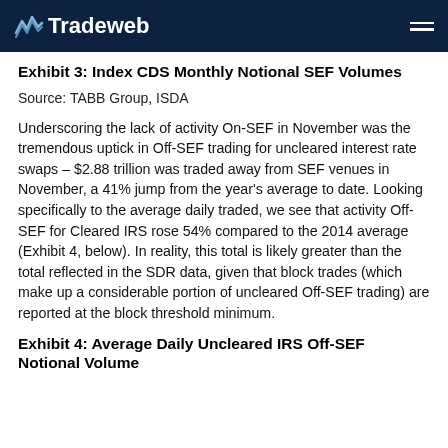Tradeweb
Exhibit 3: Index CDS Monthly Notional SEF Volumes
Source: TABB Group, ISDA
Underscoring the lack of activity On-SEF in November was the tremendous uptick in Off-SEF trading for uncleared interest rate swaps – $2.88 trillion was traded away from SEF venues in November, a 41% jump from the year's average to date. Looking specifically to the average daily traded, we see that activity Off-SEF for Cleared IRS rose 54% compared to the 2014 average (Exhibit 4, below). In reality, this total is likely greater than the total reflected in the SDR data, given that block trades (which make up a considerable portion of uncleared Off-SEF trading) are reported at the block threshold minimum.
Exhibit 4: Average Daily Uncleared IRS Off-SEF Notional Volume